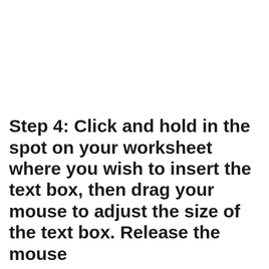Step 4: Click and hold in the spot on your worksheet where you wish to insert the text box, then drag your mouse to adjust the size of the text box. Release the mouse